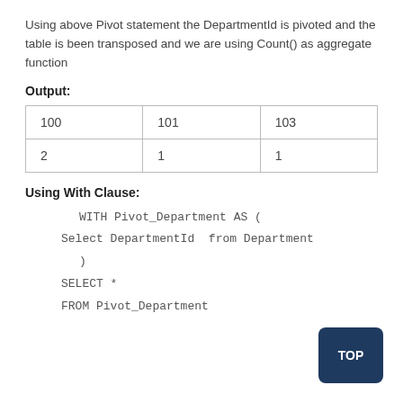Using above Pivot statement the DepartmentId is pivoted and the table is been transposed and we are using Count() as aggregate function
Output:
| 100 | 101 | 103 |
| 2 | 1 | 1 |
Using With Clause:
WITH Pivot_Department AS (
    Select DepartmentId  from Department
    )
    SELECT *
    FROM  Pivot_Department